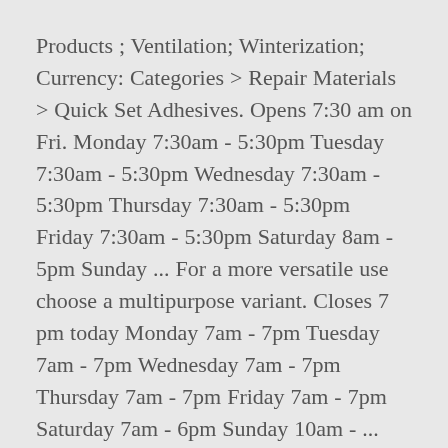Products ; Ventilation; Winterization; Currency: Categories > Repair Materials > Quick Set Adhesives. Opens 7:30 am on Fri. Monday 7:30am - 5:30pm Tuesday 7:30am - 5:30pm Wednesday 7:30am - 5:30pm Thursday 7:30am - 5:30pm Friday 7:30am - 5:30pm Saturday 8am - 5pm Sunday ... For a more versatile use choose a multipurpose variant. Closes 7 pm today Monday 7am - 7pm Tuesday 7am - 7pm Wednesday 7am - 7pm Thursday 7am - 7pm Friday 7am - 7pm Saturday 7am - 6pm Sunday 10am - ... Gorilla Superglue 2 x 3g. Check what's available in store right now. your localized Gorilla Epoxy Adhesive .85 oz. Range of -20° to 300°F, Gray (55FJ87)? The Pas, MB